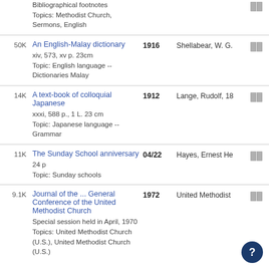Wesley's Standard Sermons 1929 Wesley, John, 17 — Bibliographical footnotes Topics: Methodist Church, Sermons, English
50K An English-Malay dictionary 1916 Shellabear, W. G. — xiv, 573, xv p. 23cm Topic: English language -- Dictionaries Malay
14K A text-book of colloquial Japanese 1912 Lange, Rudolf, 18 — xxxi, 588 p., 1 L. 23 cm Topic: Japanese language -- Grammar
11K The Sunday School anniversary 04/22 Hayes, Ernest He — 24 p Topic: Sunday schools
9.1K Journal of the ... General Conference of the United Methodist Church 1972 United Methodist — Special session held in April, 1970 Topics: United Methodist Church (U.S.), United Methodist Church (U.S.)